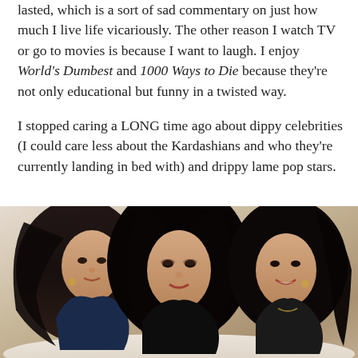lasted, which is a sort of sad commentary on just how much I live life vicariously. The other reason I watch TV or go to movies is because I want to laugh. I enjoy World's Dumbest and 1000 Ways to Die because they're not only educational but funny in a twisted way.

I stopped caring a LONG time ago about dippy celebrities (I could care less about the Kardashians and who they're currently landing in bed with) and drippy lame pop stars.
[Figure (photo): Photo of three dark-haired women (the Kardashian sisters) posing together, wearing dark clothing against a light background.]